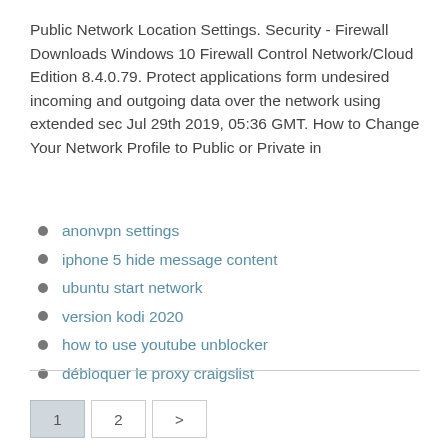Public Network Location Settings. Security - Firewall Downloads Windows 10 Firewall Control Network/Cloud Edition 8.4.0.79. Protect applications form undesired incoming and outgoing data over the network using extended sec Jul 29th 2019, 05:36 GMT. How to Change Your Network Profile to Public or Private in
anonvpn settings
iphone 5 hide message content
ubuntu start network
version kodi 2020
how to use youtube unblocker
débloquer le proxy craigslist
1  2  >